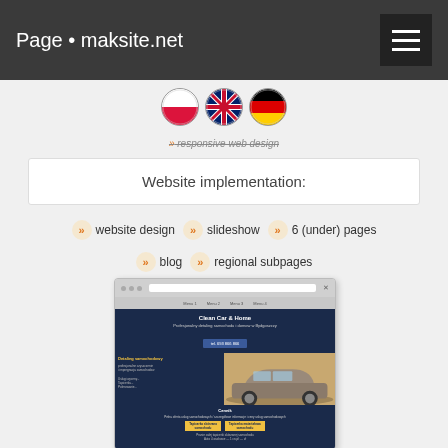Page • maksite.net
[Figure (illustration): Three circular flag icons: Polish flag, UK flag, German flag]
» responsive web design
Website implementation:
» website design
» slideshow
» 6 (under) pages
» blog
» regional subpages
[Figure (screenshot): Browser mockup showing Clean Car & Home website with dark navy theme, car detailing imagery, hero section with phone number, Cennik (price list) section below]